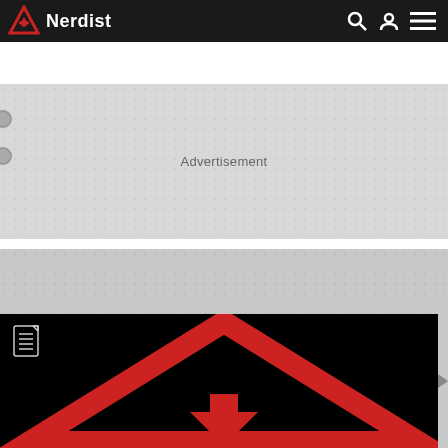Nerdist
Advertisement
KYLO REN
[Figure (logo): Nerdist website screenshot showing the Nerdist logo (red triangle with crosshair icon and white text 'Nerdist') in a black navigation bar, an advertisement placeholder area, a KYLO REN category header, and a large black image with a red Nerdist triangle/arrow logo]